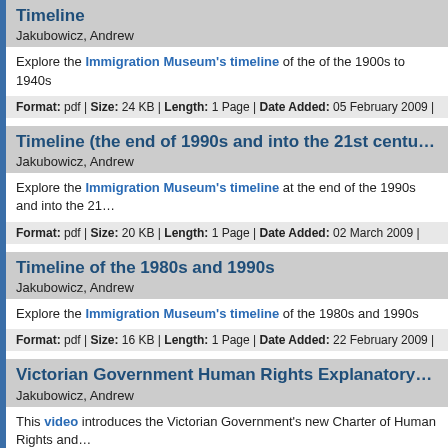Timeline
Jakubowicz, Andrew
Explore the Immigration Museum's timeline of the of the 1900s to 1940s
Format: pdf | Size: 24 KB | Length: 1 Page | Date Added: 05 February 2009 |
Timeline (the end of 1990s and into the 21st centu…
Jakubowicz, Andrew
Explore the Immigration Museum's timeline at the end of the 1990s and into the 21…
Format: pdf | Size: 20 KB | Length: 1 Page | Date Added: 02 March 2009 |
Timeline of the 1980s and 1990s
Jakubowicz, Andrew
Explore the Immigration Museum's timeline of the 1980s and 1990s
Format: pdf | Size: 16 KB | Length: 1 Page | Date Added: 22 February 2009 |
Victorian Government Human Rights Explanatory…
Jakubowicz, Andrew
This video introduces the Victorian Government's new Charter of Human Rights and… January 2008 and is aimed at the staff of public authorities.
Format: pdf | Size: 24 KB | Length: 1 Page | Date Added: 02 March 2009 |
Victorian Government Human Rights Homepage
Jakubowicz, Andrew
Human Rights are essential in a democratic and inclusive society that respects the r… section outlines Victoria's contribution to human rights protection, in the form of the C…